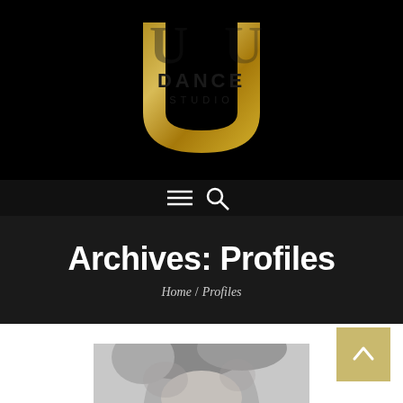[Figure (logo): U Dance Studio logo — gold metallic U letterform with DANCE STUDIO text, on black background]
[Figure (screenshot): Navigation bar with hamburger menu icon and search magnifying glass icon on dark background]
Archives: Profiles
Home / Profiles
[Figure (photo): Black and white portrait photo of a person, cropped at top of page, beginning to show at bottom of the page]